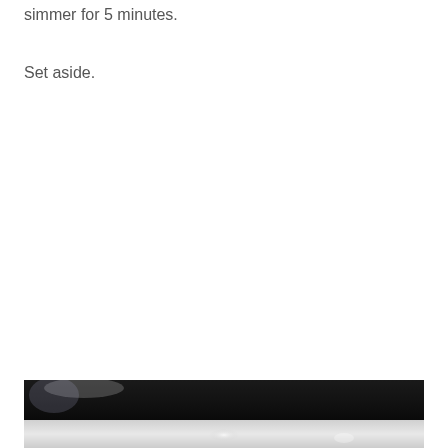simmer for 5 minutes.
Set aside.
[Figure (photo): Close-up photograph of a dark cooking pan or skillet, with a light/blurred background visible at the bottom portion of the image.]